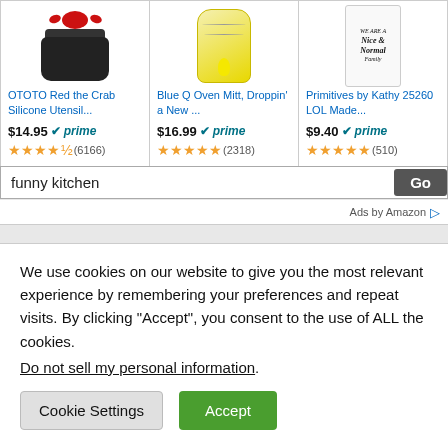[Figure (screenshot): Amazon product listing for OTOTO Red the Crab Silicone Utensil with image of black pot with red crab]
OTOTO Red the Crab Silicone Utensil...
$14.95 ✓prime
★★★★☆ (6166)
[Figure (screenshot): Amazon product listing for Blue Q Oven Mitt, Droppin' a New ... with yellow illustrated oven mitt]
Blue Q Oven Mitt, Droppin' a New ...
$16.99 ✓prime
★★★★★ (2318)
[Figure (screenshot): Amazon product listing for Primitives by Kathy 25260 LOL Made... with white kitchen towel]
Primitives by Kathy 25260 LOL Made...
$9.40 ✓prime
★★★★★ (510)
funny kitchen
Go
Ads by Amazon
We use cookies on our website to give you the most relevant experience by remembering your preferences and repeat visits. By clicking “Accept”, you consent to the use of ALL the cookies.
Do not sell my personal information.
Cookie Settings
Accept